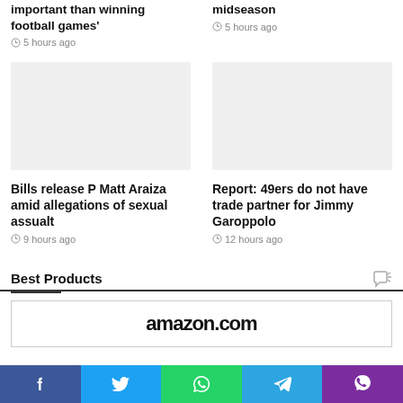important than winning football games'
5 hours ago
midseason
5 hours ago
[Figure (photo): Empty image placeholder left column]
[Figure (photo): Empty image placeholder right column]
Bills release P Matt Araiza amid allegations of sexual assualt
9 hours ago
Report: 49ers do not have trade partner for Jimmy Garoppolo
12 hours ago
Best Products
[Figure (logo): amazon.com logo (partial)]
f  (twitter)  (whatsapp)  (telegram)  (viber)